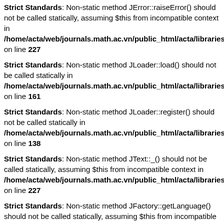Strict Standards: Non-static method JError::raiseError() should not be called statically, assuming $this from incompatible context in /home/acta/web/journals.math.ac.vn/public_html/acta/libraries/j on line 227
Strict Standards: Non-static method JLoader::load() should not be called statically in /home/acta/web/journals.math.ac.vn/public_html/acta/libraries/l on line 161
Strict Standards: Non-static method JLoader::register() should not be called statically in /home/acta/web/journals.math.ac.vn/public_html/acta/libraries/l on line 138
Strict Standards: Non-static method JText::_() should not be called statically, assuming $this from incompatible context in /home/acta/web/journals.math.ac.vn/public_html/acta/libraries/j on line 227
Strict Standards: Non-static method JFactory::getLanguage() should not be called statically, assuming $this from incompatible context in /home/acta/web/journals.math.ac.vn/public_html/acta/libraries/j on line 129